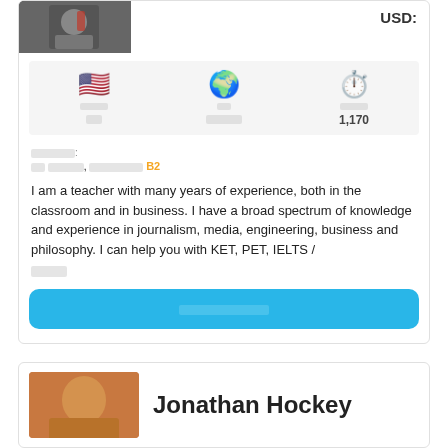[Figure (photo): Partial view of a person in formal attire at top of card]
USD:
| 언어 | 국가 | 수업시간 |
| --- | --- | --- |
| 영어 | 영어 | 1,170 |
언어능력:
영어 원어민, 영어능력검정 B2
I am a teacher with many years of experience, both in the classroom and in business. I have a broad spectrum of knowledge and experience in journalism, media, engineering, business and philosophy. I can help you with KET, PET, IELTS /
더보기
무료체험수업예약하기
[Figure (photo): Profile photo of Jonathan Hockey]
Jonathan Hockey